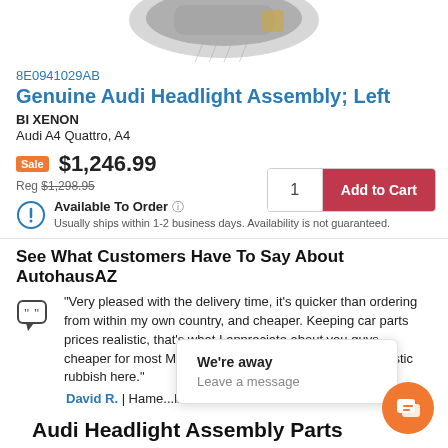[Figure (photo): Partial view of an Audi headlight assembly product image at top of page]
8E0941029AB
Genuine Audi Headlight Assembly; Left
BI XENON
Audi A4 Quattro, A4
Sale $1,246.99
Reg $1,298.95
1   Add to Cart
Available To Order ? Usually ships within 1-2 business days. Availability is not guaranteed.
See What Customers Have To Say About AutohausAZ
"Very pleased with the delivery time, it's quicker than ordering from within my own country, and cheaper. Keeping car parts prices realistic, that's what I appreciate about you guys, cheaper for most Mercedes parts than parts for our domestic rubbish here."
David R. | Hame... lia
We're away
Leave a message
Audi Headlight Assembly Parts